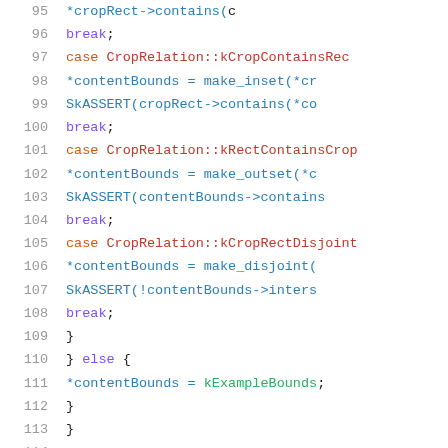[Figure (screenshot): Source code listing in C++ showing lines 95-116 of a file with syntax highlighting. Lines include switch-case statements for CropRelation enum values (kCropContainsRect, kRectContainsCrop, kCropRectDisjoint), contentBounds assignments, SkASSERT calls, break statements, an else block, and TODO comments by michaelludwig.]